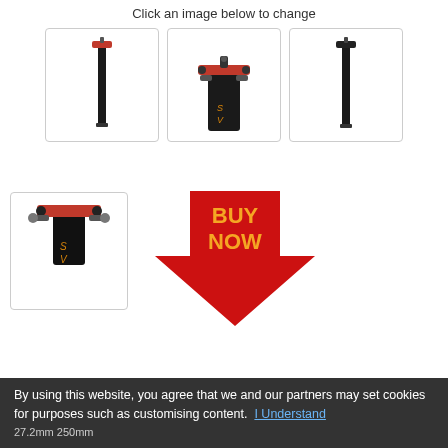Click an image below to change
[Figure (photo): Thumbnail 1: Full-length black carbon seatpost with red clamp at top]
[Figure (photo): Thumbnail 2: Close-up of seatpost top clamp with red parts and decorative pattern]
[Figure (photo): Thumbnail 3: Full-length black seatpost minimal view]
[Figure (photo): Thumbnail 4: Close-up of seatpost clamp mechanism with red and black parts]
[Figure (infographic): BUY NOW red arrow button pointing down]
Total of 4 images
27.2mm 250mm
By using this website, you agree that we and our partners may set cookies for purposes such as customising content.  I Understand
27.2mm 250mm